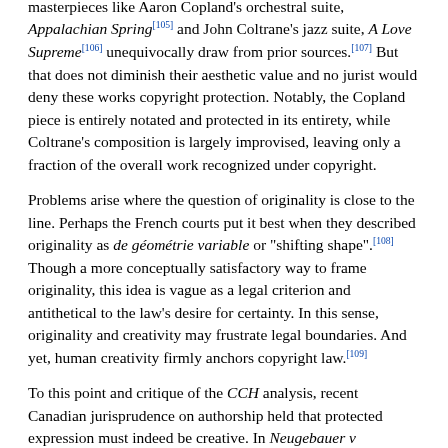masterpieces like Aaron Copland's orchestral suite, Appalachian Spring[105] and John Coltrane's jazz suite, A Love Supreme[106] unequivocally draw from prior sources.[107] But that does not diminish their aesthetic value and no jurist would deny these works copyright protection. Notably, the Copland piece is entirely notated and protected in its entirety, while Coltrane's composition is largely improvised, leaving only a fraction of the overall work recognized under copyright.
Problems arise where the question of originality is close to the line. Perhaps the French courts put it best when they described originality as de géométrie variable or "shifting shape".[108] Though a more conceptually satisfactory way to frame originality, this idea is vague as a legal criterion and antithetical to the law's desire for certainty. In this sense, originality and creativity may frustrate legal boundaries. And yet, human creativity firmly anchors copyright law.[109]
To this point and critique of the CCH analysis, recent Canadian jurisprudence on authorship held that protected expression must indeed be creative. In Neugebauer v Labieniec, the Federal Court confirmed that authorship "conveys a sense of creativity and ingenuity".[110] This statement not only imports